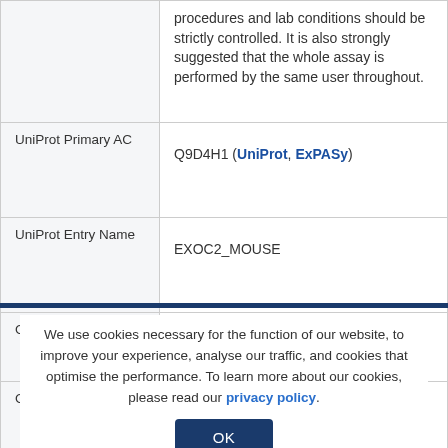| Field | Value |
| --- | --- |
|  | procedures and lab conditions should be strictly controlled. It is also strongly suggested that the whole assay is performed by the same user throughout. |
| UniProt Primary AC | Q9D4H1 (UniProt, ExPASy) |
| UniProt Entry Name | EXOC2_MOUSE |
| Gene Symbol | EXOC2 |
| GeneID | 66482 |
We use cookies necessary for the function of our website, to improve your experience, analyse our traffic, and cookies that optimise the performance. To learn more about our cookies, please read our privacy policy.